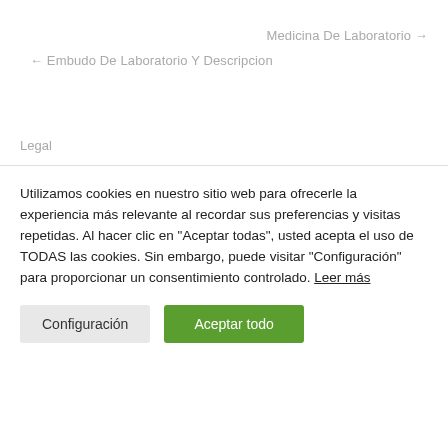Medicina De Laboratorio →
← Embudo De Laboratorio Y Descripcion
Legal
Utilizamos cookies en nuestro sitio web para ofrecerle la experiencia más relevante al recordar sus preferencias y visitas repetidas. Al hacer clic en "Aceptar todas", usted acepta el uso de TODAS las cookies. Sin embargo, puede visitar "Configuración" para proporcionar un consentimiento controlado. Leer más
Configuración
Aceptar todo